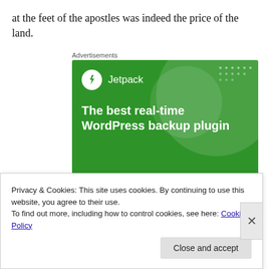at the feet of the apostles was indeed the price of the land.
Advertisements
[Figure (illustration): Jetpack advertisement banner with green background showing the Jetpack logo (lightning bolt icon in white circle) and the text 'The best real-time WordPress backup plugin' in white bold text on green background with decorative translucent circles]
Privacy & Cookies: This site uses cookies. By continuing to use this website, you agree to their use.
To find out more, including how to control cookies, see here: Cookie Policy
Close and accept